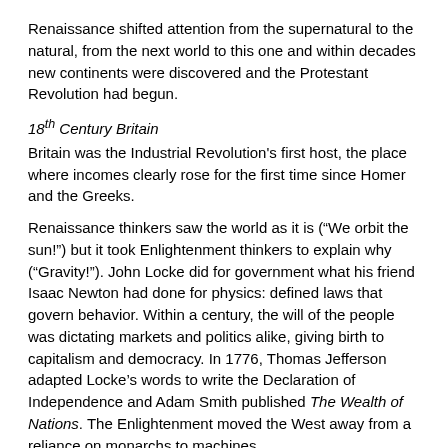Renaissance shifted attention from the supernatural to the natural, from the next world to this one and within decades new continents were discovered and the Protestant Revolution had begun.
18th Century Britain
Britain was the Industrial Revolution's first host, the place where incomes clearly rose for the first time since Homer and the Greeks.
Renaissance thinkers saw the world as it is (“We orbit the sun!”) but it took Enlightenment thinkers to explain why (“Gravity!”). John Locke did for government what his friend Isaac Newton had done for physics: defined laws that govern behavior. Within a century, the will of the people was dictating markets and politics alike, giving birth to capitalism and democracy. In 1776, Thomas Jefferson adapted Locke’s words to write the Declaration of Independence and Adam Smith published The Wealth of Nations. The Enlightenment moved the West away from a reliance on monarchs to machines.
20th Century US
An even faster – if perhaps more subtle – revolution transformed the US in the 20th century.